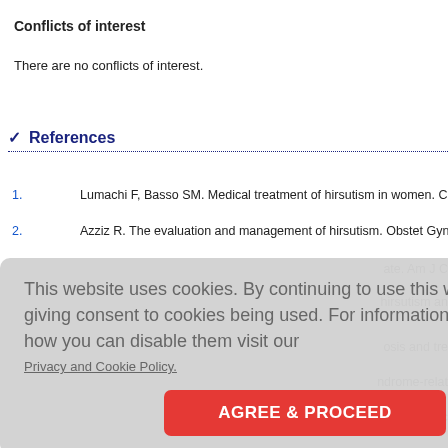Conflicts of interest
There are no conflicts of interest.
✓ References
1. Lumachi F, Basso SM. Medical treatment of hirsutism in women. Curr Med C…
2. Azziz R. The evaluation and management of hirsutism. Obstet Gynecol 2003…
[Figure (screenshot): Cookie consent overlay with text: 'This website uses cookies. By continuing to use this website you are giving consent to cookies being used. For information on cookies and how you can disable them visit our Privacy and Cookie Policy.' and an AGREE & PROCEED button.]